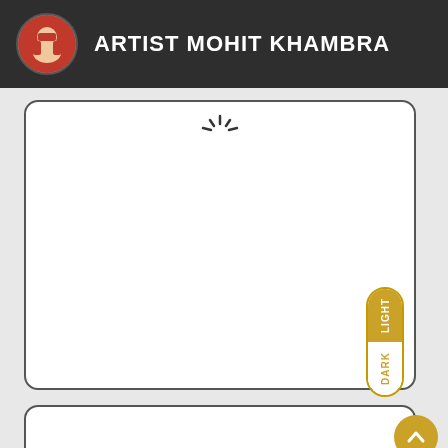ARTIST MOHIT KHAMBRA
[Figure (screenshot): A white content card with a loading spinner at the top center, and a LIGHT/DARK toggle pill on the right side]
[Figure (screenshot): A second white content card with a gold up-arrow circular button and a gold hamburger menu circular button on the right side]